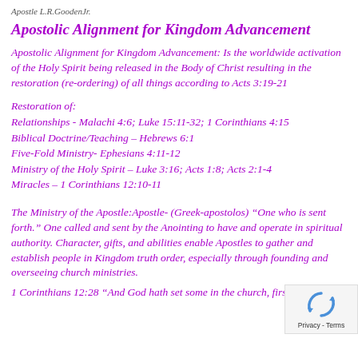Apostle L.R.GoodenJr.
Apostolic Alignment for Kingdom Advancement
Apostolic Alignment for Kingdom Advancement: Is the worldwide activation of the Holy Spirit being released in the Body of Christ resulting in the restoration (re-ordering) of all things according to Acts 3:19-21
Restoration of:
Relationships - Malachi 4:6; Luke 15:11-32; 1 Corinthians 4:15
Biblical Doctrine/Teaching – Hebrews 6:1
Five-Fold Ministry- Ephesians 4:11-12
Ministry of the Holy Spirit – Luke 3:16; Acts 1:8; Acts 2:1-4
Miracles – 1 Corinthians 12:10-11
The Ministry of the Apostle:Apostle- (Greek-apostolos) “One who is sent forth.” One called and sent by the Anointing to have and operate in spiritual authority. Character, gifts, and abilities enable Apostles to gather and establish people in Kingdom truth order, especially through founding and overseeing church ministries.
1 Corinthians 12:28 “And God hath set some in the church, first